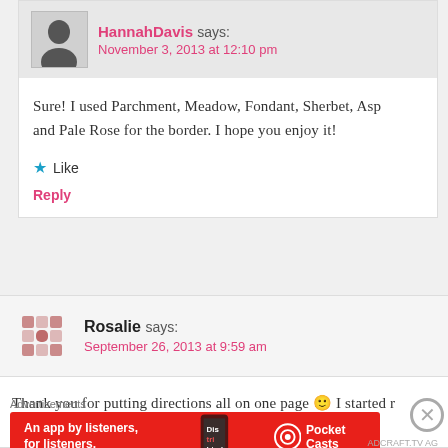HannahDavis says: November 3, 2013 at 12:10 pm
Sure! I used Parchment, Meadow, Fondant, Sherbet, Asp and Pale Rose for the border. I hope you enjoy it!
Like
Reply
Rosalie says: September 26, 2013 at 9:59 am
Thank you for putting directions all on one page 🙂 I started r online so now I have more inspiration for my rows up to th
Advertisements
[Figure (infographic): Red Pocket Casts advertisement banner: 'An app by listeners, for listeners.']